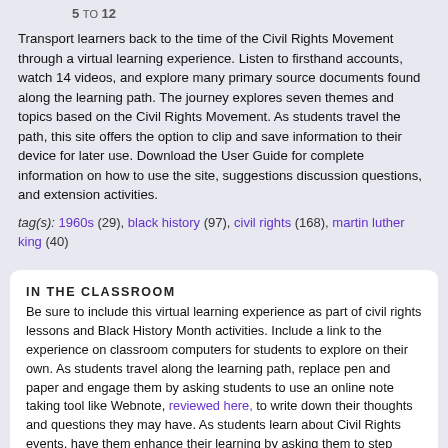5 TO 12
Transport learners back to the time of the Civil Rights Movement through a virtual learning experience. Listen to firsthand accounts, watch 14 videos, and explore many primary source documents found along the learning path. The journey explores seven themes and topics based on the Civil Rights Movement. As students travel the path, this site offers the option to clip and save information to their device for later use. Download the User Guide for complete information on how to use the site, suggestions discussion questions, and extension activities.
tag(s): 1960s (29), black history (97), civil rights (168), martin luther king (40)
IN THE CLASSROOM
Be sure to include this virtual learning experience as part of civil rights lessons and Black History Month activities. Include a link to the experience on classroom computers for students to explore on their own. As students travel along the learning path, replace pen and paper and engage them by asking students to use an online note taking tool like Webnote, reviewed here, to write down their thoughts and questions they may have. As students learn about Civil Rights events, have them enhance their learning by asking them to step back in time and create podcasts from this time. Use Podcast Generator, reviewed here, a free tool for creating and sharing podcasts. Extend learning by challenging students find an image from the Civil Rights movement and create an annotated image using